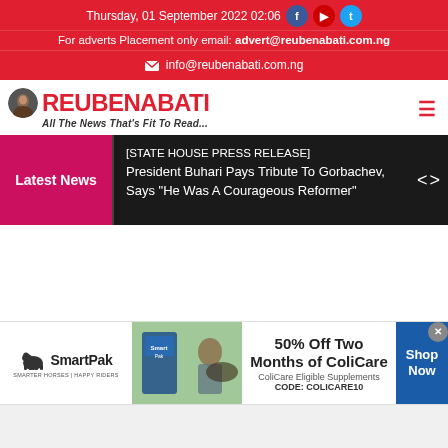Thursday, 01 September 2022 02:06
For adverts Placement only email: advert@reubenabati.com.ng
info@reubenabati.com.ng
ReubenAbati — All The News That's Fit To Read...
Latest News
[STATE HOUSE PRESS RELEASE] President Buhari Pays Tribute To Gorbachev, Says “He Was A Courageous Reformer”
[Figure (infographic): SmartPak advertisement banner: 50% Off Two Months of ColiCare, ColiCare Eligible Supplements, CODE: COLICARE10, Shop Now button]